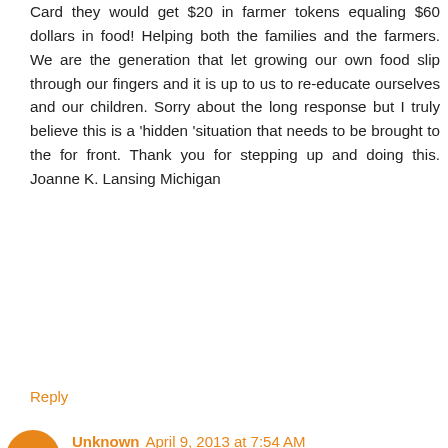Card they would get $20 in farmer tokens equaling $60 dollars in food! Helping both the families and the farmers. We are the generation that let growing our own food slip through our fingers and it is up to us to re-educate ourselves and our children. Sorry about the long response but I truly believe this is a 'hidden 'situation that needs to be brought to the for front. Thank you for stepping up and doing this. Joanne K. Lansing Michigan
Reply
Unknown  April 9, 2013 at 7:54 AM
This is a great post...teaching people how to grow things to eat...but I am a little confused here. Where I live in N. Mi. we have a local soup kitchen( which I have worked at)They a have a meal every day except on Sunday and then a local church picks up Sunday...Lots of food is donated from local grocery stores and business. The kitchen has it own store where if a family needs all the need to do is call and they can go and pick up all kinds of good nutritious food.We also have a church that has a food pantry where when people donate $$ and for every 7$ the gov. gives them $14